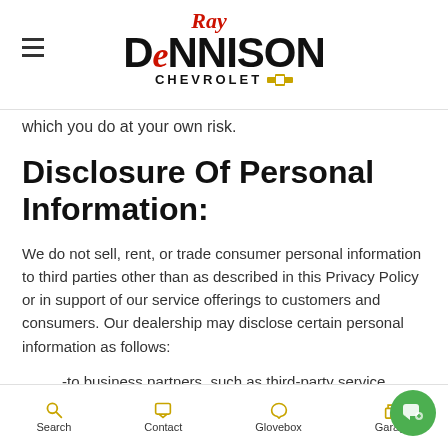Ray Dennison Chevrolet
which you do at your own risk.
Disclosure Of Personal Information:
We do not sell, rent, or trade consumer personal information to third parties other than as described in this Privacy Policy or in support of our service offerings to customers and consumers. Our dealership may disclose certain personal information as follows:
-to business partners, such as third-party service providers, agents and affiliated entities in connection with the services that they perform for our dealership, such as providing certain services necessary for the administration of this web
Search   Contact   Glovebox   Garage